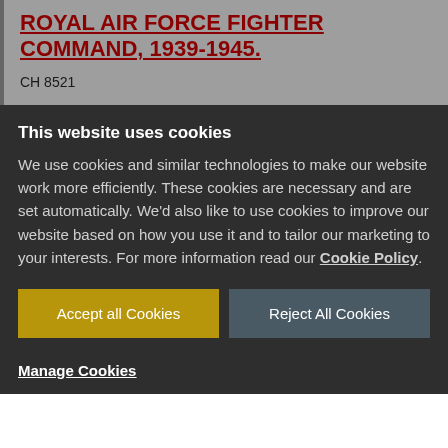ROYAL AIR FORCE FIGHTER COMMAND, 1939-1945.
CH 8521
This website uses cookies
We use cookies and similar technologies to make our website work more efficiently. These cookies are necessary and are set automatically. We'd also like to use cookies to improve our website based on how you use it and to tailor our marketing to your interests. For more information read our Cookie Policy.
Accept all Cookies
Reject All Cookies
Manage Cookies